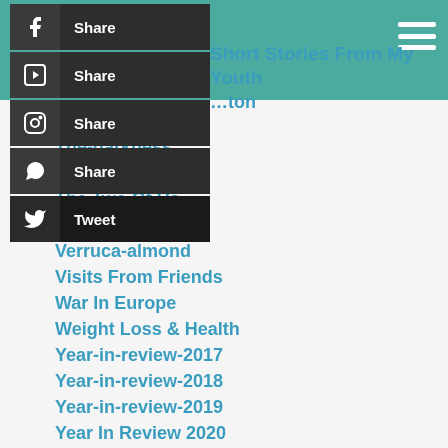Short Stories From My Youth
Thailand 2022
The-darkness
The-streets
The Two Of Us
Travel
Verruca-almond
Visits From Friends
War In Europe
Weight Loss & Health
Year-in-review-2017
Year-in-review-2018
Year-in-review-2019
Year In Review 2020
Year In Review 2021